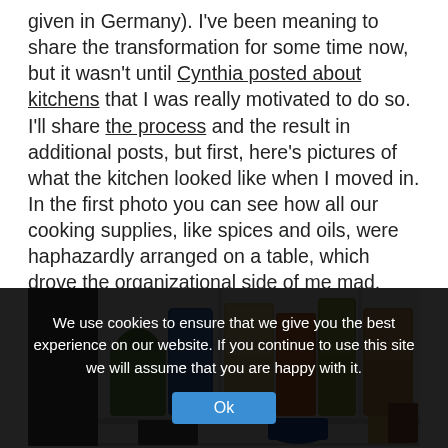given in Germany). I've been meaning to share the transformation for some time now, but it wasn't until Cynthia posted about kitchens that I was really motivated to do so. I'll share the process and the result in additional posts, but first, here's pictures of what the kitchen looked like when I moved in. In the first photo you can see how all our cooking supplies, like spices and oils, were haphazardly arranged on a table, which drove the organizational side of me mad.
[Figure (photo): A kitchen shelf/pantry showing organized items including bags of food, bottles, and packaged goods arranged on white shelves.]
We use cookies to ensure that we give you the best experience on our website. If you continue to use this site we will assume that you are happy with it.